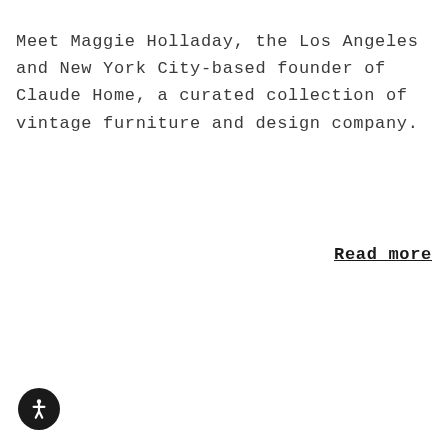Meet Maggie Holladay, the Los Angeles and New York City-based founder of Claude Home, a curated collection of vintage furniture and design company.
Read more